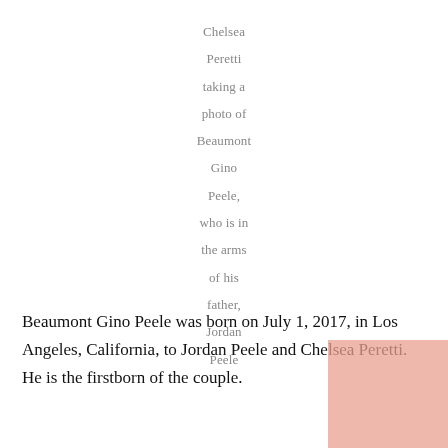Chelsea Peretti taking a photo of Beaumont Gino Peele, who is in the arms of his father, Jordan Peele
Beaumont Gino Peele was born on July 1, 2017, in Los Angeles, California, to Jordan Peele and Chelsea Peretti. He is the firstborn of the couple.